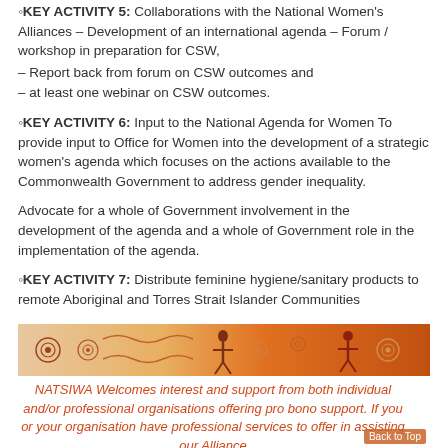KEY ACTIVITY 5: Collaborations with the National Women's Alliances – Development of an international agenda – Forum / workshop in preparation for CSW,
– Report back from forum on CSW outcomes and
– at least one webinar on CSW outcomes.
KEY ACTIVITY 6: Input to the National Agenda for Women To provide input to Office for Women into the development of a strategic women's agenda which focuses on the actions available to the Commonwealth Government to address gender inequality.
Advocate for a whole of Government involvement in the development of the agenda and a whole of Government role in the implementation of the agenda.
KEY ACTIVITY 7: Distribute feminine hygiene/sanitary products to remote Aboriginal and Torres Strait Islander Communities
[Figure (illustration): Decorative Aboriginal art banner with spiral and figure motifs in orange and brown tones]
NATSIWA Welcomes interest and support from both individual and/or professional organisations offering pro bono support. If you or your organisation have professional services to offer in assisting our Alliance